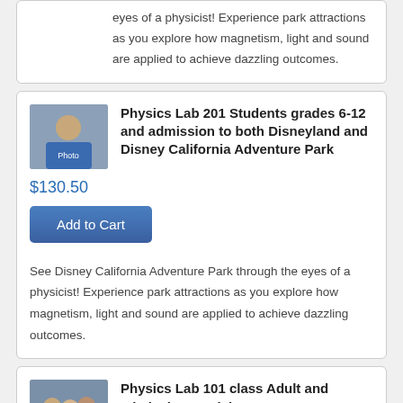eyes of a physicist! Experience park attractions as you explore how magnetism, light and sound are applied to achieve dazzling outcomes.
[Figure (photo): Thumbnail photo of a person in blue shirt outdoors at a theme park]
Physics Lab 201 Students grades 6-12 and admission to both Disneyland and Disney California Adventure Park
$130.50
Add to Cart
See Disney California Adventure Park through the eyes of a physicist! Experience park attractions as you explore how magnetism, light and sound are applied to achieve dazzling outcomes.
[Figure (photo): Thumbnail photo of a group of people at a theme park]
Physics Lab 101 class Adult and admission to Disneyland